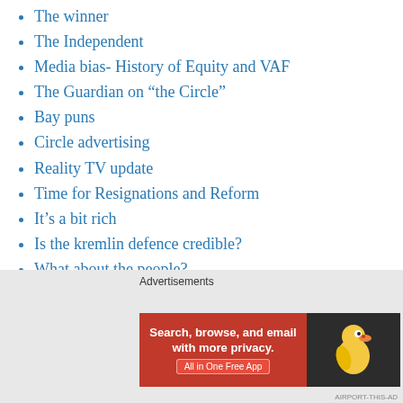The winner
The Independent
Media bias- History of Equity and VAF
The Guardian on “the Circle”
Bay puns
Circle advertising
Reality TV update
Time for Resignations and Reform
It’s a bit rich
Is the kremlin defence credible?
What about the people?
Alexei Navalny protests
Some recent videos
Mr Trump and Mr Biden
[Figure (screenshot): DuckDuckGo advertisement banner: orange left panel with text 'Search, browse, and email with more privacy. All in One Free App', dark right panel with DuckDuckGo duck logo.]